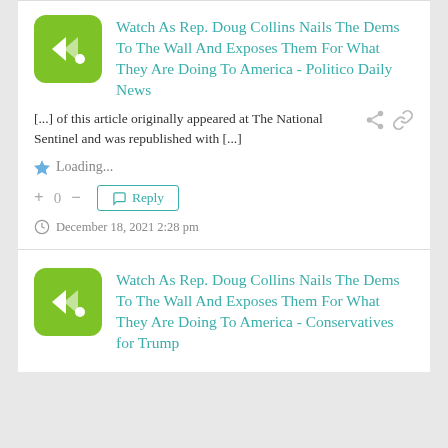Watch As Rep. Doug Collins Nails The Dems To The Wall And Exposes Them For What They Are Doing To America - Politico Daily News
[...] of this article originally appeared at The National Sentinel and was republished with [...]
Loading...
+ 0 — Reply
December 18, 2021 2:28 pm
Watch As Rep. Doug Collins Nails The Dems To The Wall And Exposes Them For What They Are Doing To America - Conservatives for Trump